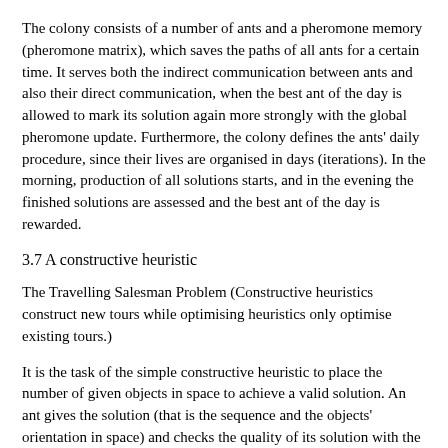The colony consists of a number of ants and a pheromone memory (pheromone matrix), which saves the paths of all ants for a certain time. It serves both the indirect communication between ants and also their direct communication, when the best ant of the day is allowed to mark its solution again more strongly with the global pheromone update. Furthermore, the colony defines the ants' daily procedure, since their lives are organised in days (iterations). In the morning, production of all solutions starts, and in the evening the finished solutions are assessed and the best ant of the day is rewarded.
3.7 A constructive heuristic
The Travelling Salesman Problem (Constructive heuristics construct new tours while optimising heuristics only optimise existing tours.)
It is the task of the simple constructive heuristic to place the number of given objects in space to achieve a valid solution. An ant gives the solution (that is the sequence and the objects' orientation in space) and checks the quality of its solution with the aid of a constructive heuristic and the target function. The space to be filled, Z = (H, B, T) is defined with height and width, the depth is still unknown. It is simpler to take the depth as very big (see figure 5). Starting with a permutation of the series of objects pi and